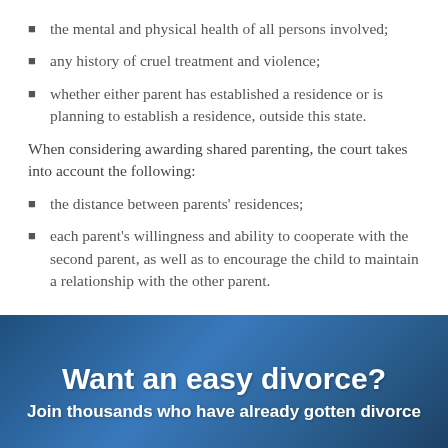the mental and physical health of all persons involved;
any history of cruel treatment and violence;
whether either parent has established a residence or is planning to establish a residence, outside this state.
When considering awarding shared parenting, the court takes into account the following:
the distance between parents' residences;
each parent's willingness and ability to cooperate with the second parent, as well as to encourage the child to maintain a relationship with the other parent.
[Figure (infographic): Blue banner advertisement with text 'Want an easy divorce?' and subtitle 'Join thousands who have already gotten divorce']